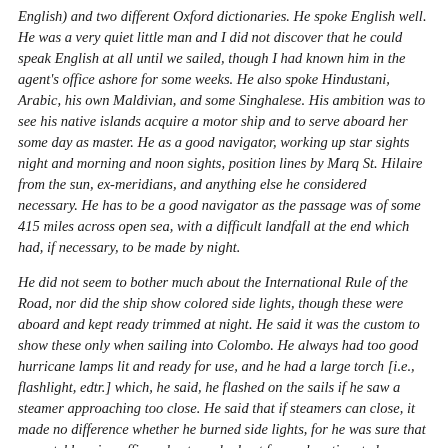English) and two different Oxford dictionaries. He spoke English well. He was a very quiet little man and I did not discover that he could speak English at all until we sailed, though I had known him in the agent's office ashore for some weeks. He also spoke Hindustani, Arabic, his own Maldivian, and some Singhalese. His ambition was to see his native islands acquire a motor ship and to serve aboard her some day as master. He as a good navigator, working up star sights night and morning and noon sights, position lines by Marq St. Hilaire from the sun, ex-meridians, and anything else he considered necessary. He has to be a good navigator as the passage was of some 415 miles across open sea, with a difficult landfall at the end which had, if necessary, to be made by night.
He did not seem to bother much about the International Rule of the Road, nor did the ship show colored side lights, though these were aboard and kept ready trimmed at night. He said it was the custom to show these only when sailing into Colombo. He always had too good hurricane lamps lit and ready for use, and he had a large torch [i.e., flashlight, edtr.] which, he said, he flashed on the sails if he saw a steamer approaching too close. He said that if steamers can close, it made no difference whether he burned side lights, for he was sure that no watchkeeping officers kept any lookout for such antiquated sea